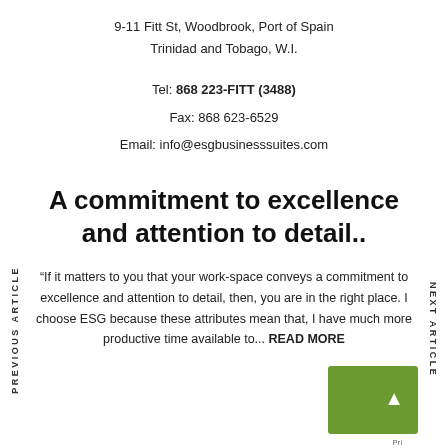9-11 Fitt St, Woodbrook, Port of Spain
Trinidad and Tobago, W.I.
Tel: 868 223-FITT (3488)
Fax: 868 623-6529
Email: info@esgbusinesssuites.com
A commitment to excellence and attention to detail..
“If it matters to you that your work-space conveys a commitment to excellence and attention to detail, then, you are in the right place. I choose ESG because these attributes mean that, I have much more productive time available to... READ MORE
PREVIOUS ARTICLE
NEXT ARTICLE